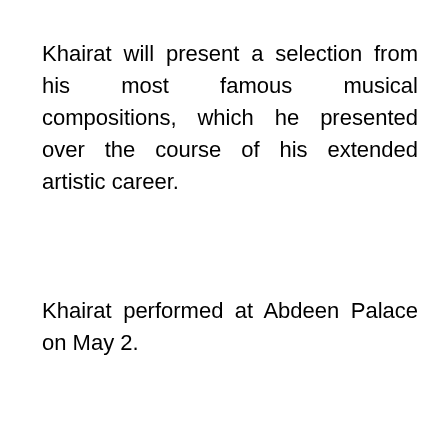Khairat will present a selection from his most famous musical compositions, which he presented over the course of his extended artistic career.
Khairat performed at Abdeen Palace on May 2.